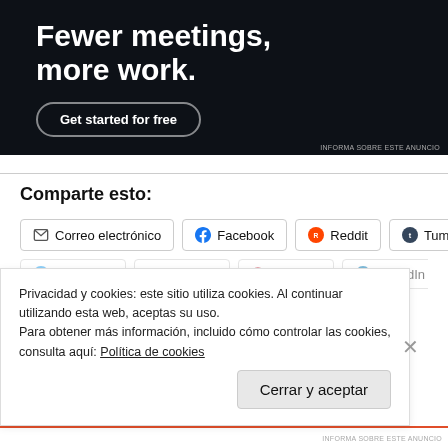[Figure (screenshot): Dark advertisement banner with text 'Fewer meetings, more work.' and a 'Get started for free' button on dark navy background]
INFORMA SOBRE ESTE ANUNCIO
Comparte esto:
Correo electrónico Facebook Reddit Tumblr
Privacidad y cookies: este sitio utiliza cookies. Al continuar utilizando esta web, aceptas su uso.
Para obtener más información, incluido cómo controlar las cookies, consulta aquí: Política de cookies
Cerrar y aceptar
INFORMA SOBRE ESTE ANUNCIO